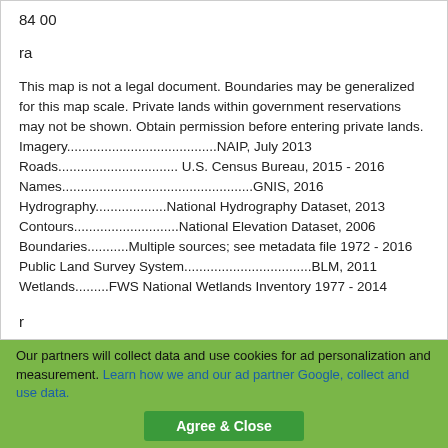84 00
ra
This map is not a legal document. Boundaries may be generalized for this map scale. Private lands within government reservations may not be shown. Obtain permission before entering private lands. Imagery........................................NAIP, July 2013 Roads................................ U.S. Census Bureau, 2015 - 2016 Names...................................................GNIS, 2016 Hydrography...................National Hydrography Dataset, 2013 Contours............................National Elevation Dataset, 2006 Boundaries...........Multiple sources; see metadata file 1972 - 2016 Public Land Survey System..................................BLM, 2011 Wetlands.........FWS National Wetlands Inventory 1977 - 2014
r
74 00
Our partners will collect data and use cookies for ad personalization and measurement. Learn how we and our ad partner Google, collect and use data.